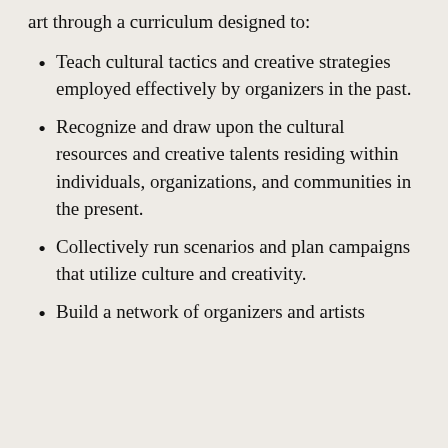art through a curriculum designed to:
Teach cultural tactics and creative strategies employed effectively by organizers in the past.
Recognize and draw upon the cultural resources and creative talents residing within individuals, organizations, and communities in the present.
Collectively run scenarios and plan campaigns that utilize culture and creativity.
Build a network of organizers and artists